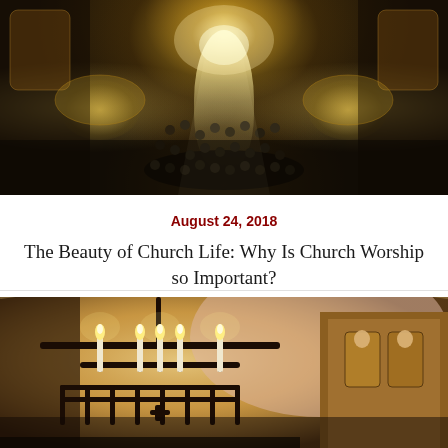[Figure (photo): Aerial interior view of an Orthodox Christian church during a service, showing crowded nave with worshippers, golden iconostasis at the altar end, large chandeliers on both sides, and elaborate frescoes on walls]
August 24, 2018
The Beauty of Church Life: Why Is Church Worship so Important?
[Figure (photo): Interior of an Orthodox church showing ornate wrought-iron chandelier with lit candles in foreground, with golden iconostasis and religious icons visible in background]